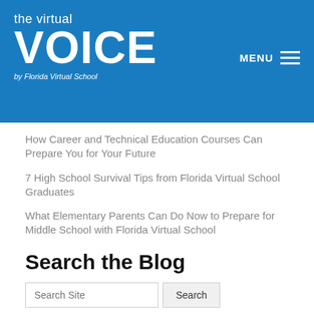the virtual VOICE by Florida Virtual School | MENU
How Career and Technical Education Courses Can Prepare You for Your Future
7 High School Survival Tips from Florida Virtual School Graduates
What Elementary Parents Can Do Now to Prepare for Middle School with Florida Virtual School
Search the Blog
Tags
Advisement Career & Technical Education Career and Technical Education Careers Clubs Curriculum Education